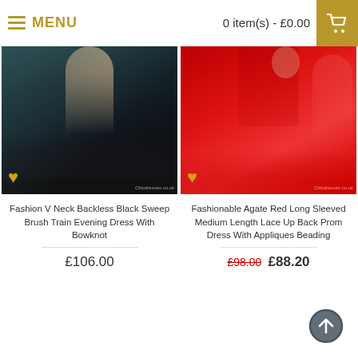MENU | 0 item(s) - £0.00
[Figure (photo): Black ball gown evening dress with sweetheart neckline and full tulle skirt, displayed on model against dark teal background. Gold heart wishlist icon in lower left corner.]
Fashion V Neck Backless Black Sweep Brush Train Evening Dress With Bowknot
£106.00
[Figure (photo): Red long-sleeved medium length lace prom dress with full tulle skirt, displayed on model. Gold heart wishlist icon in lower left corner.]
Fashionable Agate Red Long Sleeved Medium Length Lace Up Back Prom Dress With Appliques Beading
£98.00  £88.20